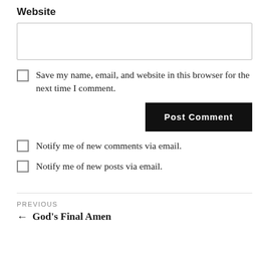Website
[Figure (other): Empty text input field for website URL]
Save my name, email, and website in this browser for the next time I comment.
[Figure (other): Post Comment button (black background, white bold text)]
Notify me of new comments via email.
Notify me of new posts via email.
PREVIOUS
← God's Final Amen